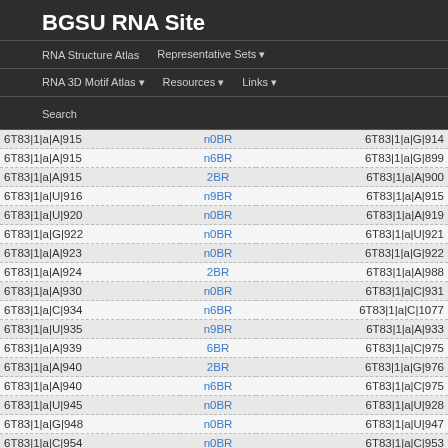BGSU RNA Site
RNA Structure Atlas | Representative Sets ▾ | RNA 3D Motif Atlas ▾ | Resources ▾ | Links ▾ | Search
|  |  |  |
| --- | --- | --- |
| 6T83|1|a|A|915 | n0BR | 6T83|1|a|G|914 |
| 6T83|1|a|A|915 | n6BR | 6T83|1|a|G|899 |
| 6T83|1|a|A|915 | 2BR | 6T83|1|a|A|900 |
| 6T83|1|a|U|916 | n9BR | 6T83|1|a|A|915 |
| 6T83|1|a|U|920 | n0BR | 6T83|1|a|A|919 |
| 6T83|1|a|G|922 | n0BR | 6T83|1|a|U|921 |
| 6T83|1|a|A|923 | n0BR | 6T83|1|a|G|922 |
| 6T83|1|a|A|924 | 2BR | 6T83|1|a|A|988 |
| 6T83|1|a|A|930 | n0BR | 6T83|1|a|C|931 |
| 6T83|1|a|C|934 | n6BR | 6T83|1|a|C|1077 |
| 6T83|1|a|U|935 | n9BR | 6T83|1|a|A|933 |
| 6T83|1|a|A|939 | 6BR | 6T83|1|a|C|975 |
| 6T83|1|a|A|940 | 2BR | 6T83|1|a|G|976 |
| 6T83|1|a|A|940 | n6BR | 6T83|1|a|C|975 |
| 6T83|1|a|U|945 | n0BR | 6T83|1|a|U|928 |
| 6T83|1|a|G|948 | n0BR | 6T83|1|a|U|947 |
| 6T83|1|a|C|954 | n0BR | 6T83|1|a|C|953 |